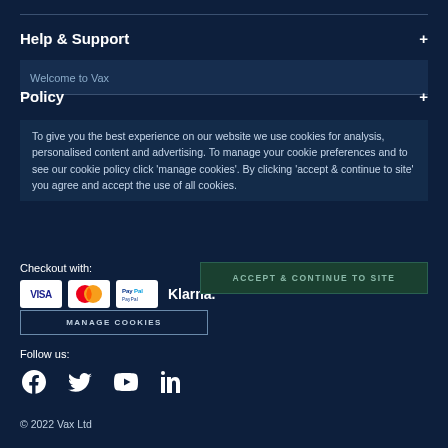Help & Support
Welcome to Vax
Policy
To give you the best experience on our website we use cookies for analysis, personalised content and advertising. To manage your cookie preferences and to see our cookie policy click 'manage cookies'. By clicking 'accept & continue to site' you agree and accept the use of all cookies.
ACCEPT & CONTINUE TO SITE
Checkout with:
[Figure (logo): Payment method logos: VISA, Mastercard, PayPal, Klarna]
MANAGE COOKIES
Follow us:
[Figure (logo): Social media icons: Facebook, Twitter, YouTube, LinkedIn]
© 2022 Vax Ltd